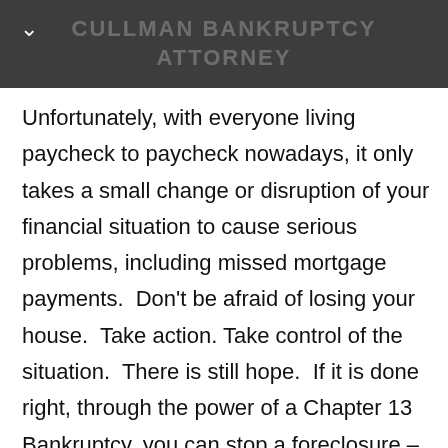CULLMAN BANKRUPTCY ATTORNEY
Unfortunately, with everyone living paycheck to paycheck nowadays, it only takes a small change or disruption of your financial situation to cause serious problems, including missed mortgage payments.  Don't be afraid of losing your house.  Take action.  Take control of the situation.  There is still hope.  If it is done right, through the power of a Chapter 13 Bankruptcy, you can stop a foreclosure – even if the foreclosure process has started – even if you have received threatening letters – even if a sale date has been set – even if that sale date is